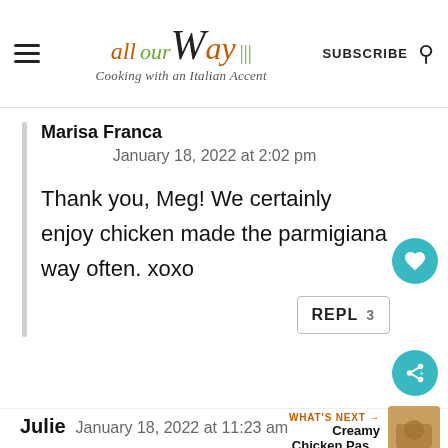all our Way — Cooking with an Italian Accent | SUBSCRIBE
Marisa Franca
January 18, 2022 at 2:02 pm
Thank you, Meg! We certainly enjoy chicken made the parmigiana way often. xoxo
REPLY 3
WHAT'S NEXT → Creamy Chicken Pas...
Julie   January 18, 2022 at 11:23 am